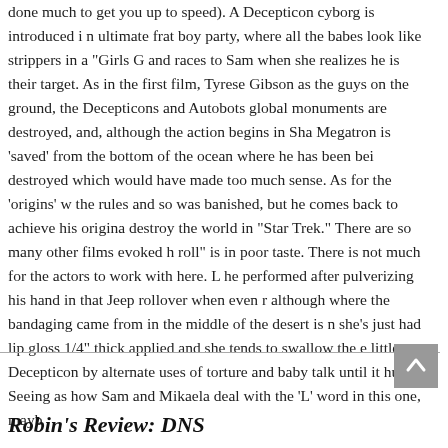done much to get you up to speed). A Decepticon cyborg is introduced i n ultimate frat boy party, where all the babes look like strippers in a "Girls G and races to Sam when she realizes he is their target. As in the first film, Tyrese Gibson as the guys on the ground, the Decepticons and Autobots global monuments are destroyed, and, although the action begins in Sha Megatron is 'saved' from the bottom of the ocean where he has been bei destroyed which would have made too much sense. As for the 'origins' w the rules and so was banished, but he comes back to achieve his origina destroy the world in "Star Trek." There are so many other films evoked h roll" is in poor taste. There is not much for the actors to work with here. L he performed after pulverizing his hand in that Jeep rollover when even r although where the bandaging came from in the middle of the desert is n she's just had lip gloss 1/4" thick applied and she tends to swallow the e little Decepticon by alternate uses of torture and baby talk until it humps Seeing as how Sam and Mikaela deal with the 'L' word in this one, mayb
Robin's Review: DNS